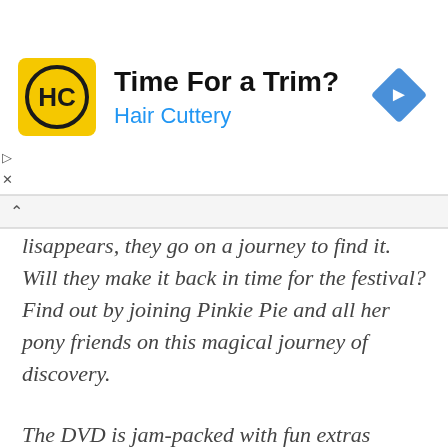[Figure (logo): Hair Cuttery advertisement banner with yellow square HC logo, title 'Time For a Trim?', subtitle 'Hair Cuttery' in blue, and a blue diamond-shaped navigation arrow on the right]
lisappears, they go on a journey to find it. Will they make it back in time for the festival? Find out by joining Pinkie Pie and all her pony friends on this magical journey of discovery.
The DVD is jam-packed with fun extras including a new animated short “Elefun and Friends,” the “Waiting for the Winter Wishes Festival” prequel, six sing-along songs, downloadable coloring sheets, cut-out pony ornaments and four fun activities.